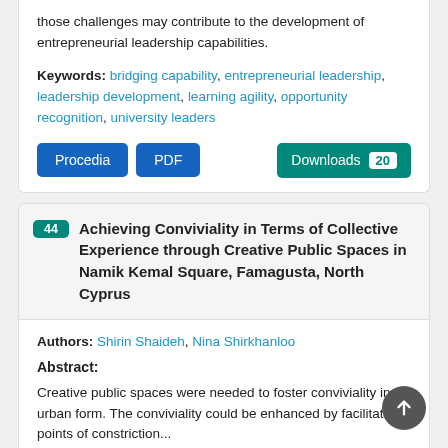those challenges may contribute to the development of entrepreneurial leadership capabilities.
Keywords: bridging capability, entrepreneurial leadership, leadership development, learning agility, opportunity recognition, university leaders
Procedia  PDF  Downloads 20
44 Achieving Conviviality in Terms of Collective Experience through Creative Public Spaces in Namik Kemal Square, Famagusta, North Cyprus
Authors: Shirin Shaideh, Nina Shirkhanloo
Abstract:
Creative public spaces were needed to foster conviviality in an urban form. The conviviality could be enhanced by facilitating points of constriction...